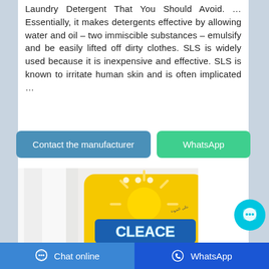Laundry Detergent That You Should Avoid. … Essentially, it makes detergents effective by allowing water and oil – two immiscible substances – emulsify and be easily lifted off dirty clothes. SLS is widely used because it is inexpensive and effective. SLS is known to irritate human skin and is often implicated …
[Figure (other): Two buttons: 'Contact the manufacturer' (blue/teal) and 'WhatsApp' (green)]
[Figure (photo): Photo of a yellow bag of CLEACE Lemon Freshness Automatic Washing Powder product on a white background]
Chat online | WhatsApp